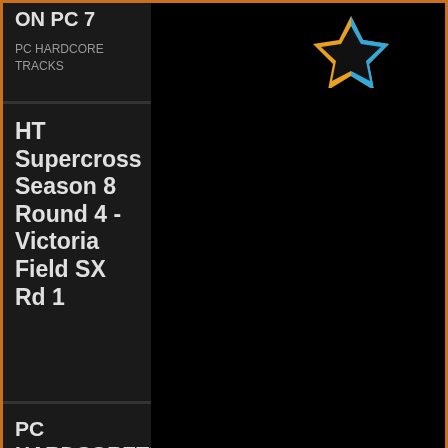ON PC 7
PC HARDCORE TRACKS
[Figure (logo): Star logo with orange and blue colors]
HT Supercross Season 8 Round 4 - Victoria Field SX Rd 1
PC HARDCORETRACKS 6
HARDCORETRA CKS ON PC
HT Supercross